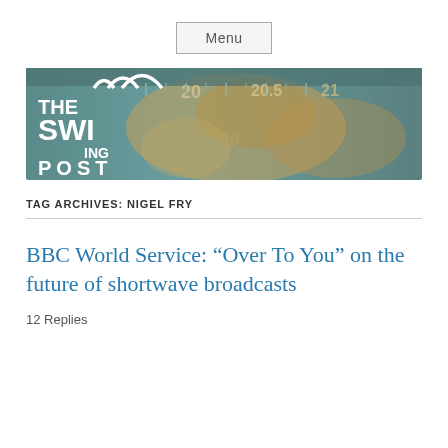Menu
[Figure (illustration): The Swinging Post blog banner — a radio dial with a world map background, showing frequency markings such as 20, 20.5, 21 and 10. The blog logo text reads THE SWINGING POST in white with a stylized wave graphic.]
TAG ARCHIVES: NIGEL FRY
BBC World Service: “Over To You” on the future of shortwave broadcasts
12 Replies